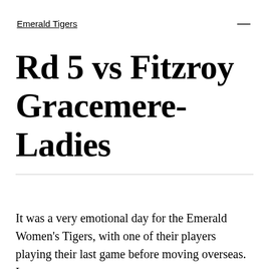Emerald Tigers
Rd 5 vs Fitzroy Gracemere-Ladies
It was a very emotional day for the Emerald Women's Tigers, with one of their players playing their last game before moving overseas. Laura